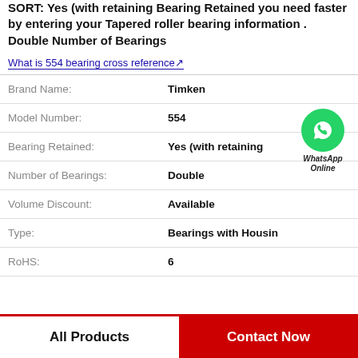SORT: Yes (with retaining Bearing Retained you need faster by entering your Tapered roller bearing information . Double Number of Bearings
What is 554 bearing cross reference
| Property | Value |
| --- | --- |
| Brand Name: | Timken |
| Model Number: | 554 |
| Bearing Retained: | Yes (with retaining |
| Number of Bearings: | Double |
| Volume Discount: | Available |
| Type: | Bearings with Housin |
| RoHS: | 6 |
[Figure (logo): WhatsApp Online contact button with green phone icon and italic text 'WhatsApp Online']
All Products
Contact Now